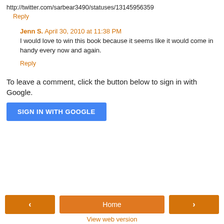http://twitter.com/sarbear3490/statuses/13145956359
Reply
Jenn S.  April 30, 2010 at 11:38 PM
I would love to win this book because it seems like it would come in handy every now and again.
Reply
To leave a comment, click the button below to sign in with Google.
[Figure (other): SIGN IN WITH GOOGLE button (blue)]
[Figure (other): Navigation bar with left arrow, Home, and right arrow buttons (orange)]
View web version